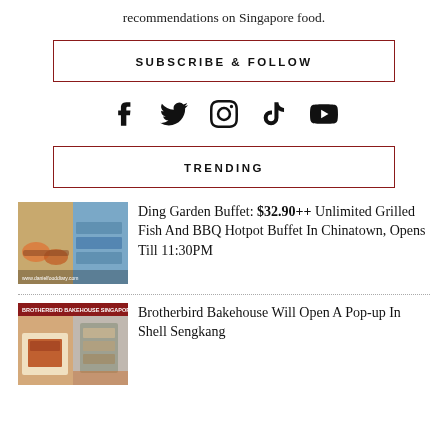recommendations on Singapore food.
SUBSCRIBE & FOLLOW
[Figure (infographic): Social media icons: Facebook, Twitter, Instagram, TikTok, YouTube]
TRENDING
[Figure (photo): Ding Garden Buffet food spread thumbnail]
Ding Garden Buffet: $32.90++ Unlimited Grilled Fish And BBQ Hotpot Buffet In Chinatown, Opens Till 11:30PM
[Figure (photo): Brotherbird Bakehouse Pop-up thumbnail]
Brotherbird Bakehouse Will Open A Pop-up In Shell Sengkang